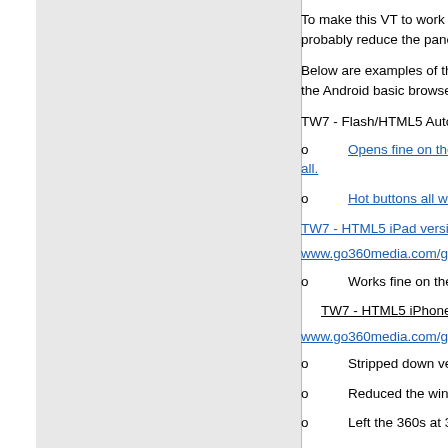To make this VT to work on the iPhone I will have to strip may work if I put the buttons over on the left side. I will al compatible). I will probably reduce the pano image size d
Below are examples of the same VT outputted with differ player 11.1. My browsers are base Android WebKit/533.1 Opera Mobile and the Android basic browser.
TW7 - Flash/HTML5 Auto Select version: www.go360me
o    Opens fine on the PC and iPad but the scene resolu all.
o    Hot buttons all work except inside the Info Box the te
TW7 - HTML5 iPad version:
www.go360media.com/gmhc/cobblestone/ipad
o    Works fine on the iPad.
TW7 - HTML5 iPhone version:
www.go360media.com/gmhc/cobblestone/iphone
o    Stripped down version.
o    Reduced the window size to 480X320.
o    Left the 360s at 3000X1500 but this should be able t
o    Took out the Navigation Bar because it would not le